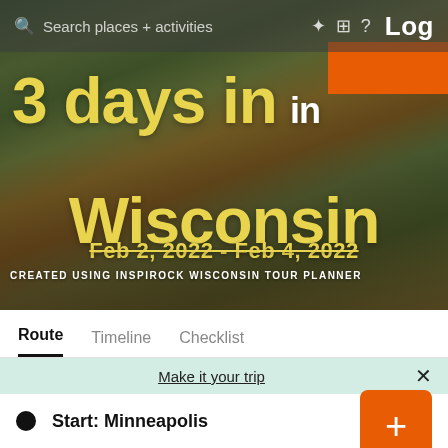Search places + activities   Log
[Figure (photo): Hero background photo of a wooded canyon with green moss-covered rock walls and a wooden boardwalk/bridge winding through it]
3 days in in Wisconsin
Feb 2, 2022 - Feb 4, 2022
CREATED USING INSPIROCK WISCONSIN TOUR PLANNER
Route   Timeline   Checklist
Make it your trip
Start: Minneapolis